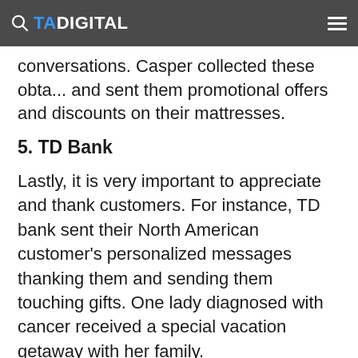TA DIGITAL
conversations. Casper collected these obta... and sent them promotional offers and discounts on their mattresses.
5. TD Bank
Lastly, it is very important to appreciate and thank customers. For instance, TD bank sent their North American customer's personalized messages thanking them and sending them touching gifts. One lady diagnosed with cancer received a special vacation getaway with her family.